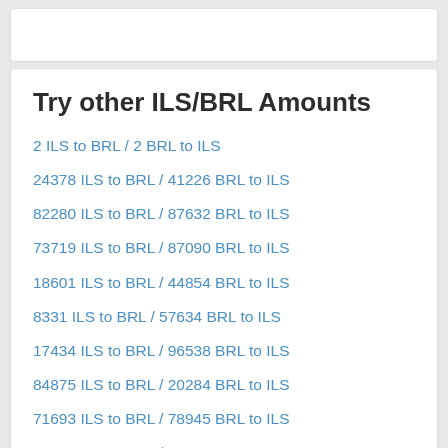Try other ILS/BRL Amounts
2 ILS to BRL / 2 BRL to ILS
24378 ILS to BRL / 41226 BRL to ILS
82280 ILS to BRL / 87632 BRL to ILS
73719 ILS to BRL / 87090 BRL to ILS
18601 ILS to BRL / 44854 BRL to ILS
8331 ILS to BRL / 57634 BRL to ILS
17434 ILS to BRL / 96538 BRL to ILS
84875 ILS to BRL / 20284 BRL to ILS
71693 ILS to BRL / 78945 BRL to ILS
33592 ILS to BRL / 85547 BRL to ILS